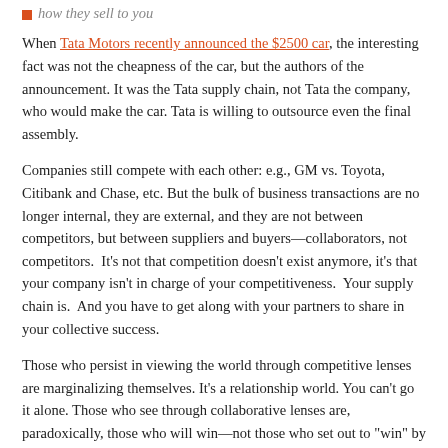how they sell to you
When Tata Motors recently announced the $2500 car, the interesting fact was not the cheapness of the car, but the authors of the announcement. It was the Tata supply chain, not Tata the company, who would make the car. Tata is willing to outsource even the final assembly.
Companies still compete with each other: e.g., GM vs. Toyota, Citibank and Chase, etc. But the bulk of business transactions are no longer internal, they are external, and they are not between competitors, but between suppliers and buyers—collaborators, not competitors.  It's not that competition doesn't exist anymore, it's that your company isn't in charge of your competitiveness.  Your supply chain is.  And you have to get along with your partners to share in your collective success.
Those who persist in viewing the world through competitive lenses are marginalizing themselves. It's a relationship world. You can't go it alone. Those who see through collaborative lenses are, paradoxically, those who will win—not those who set out to "win" by competing.
GM no longer competes in the car business — they just add the